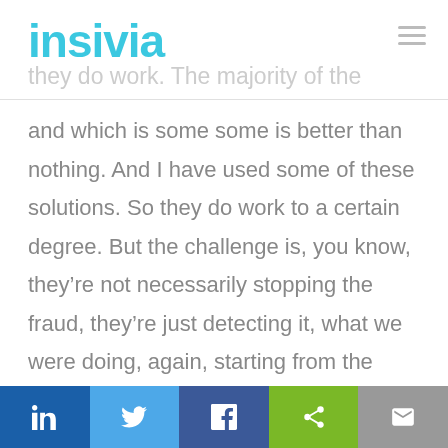insivia
and which is some some is better than nothing. And I have used some of these solutions. So they do work to a certain degree. But the challenge is, you know, they're not necessarily stopping the fraud, they're just detecting it, what we were doing, again, starting from the blacklist on is we would at least shave a quarter of it